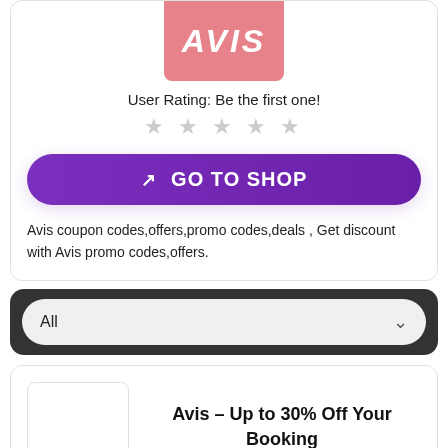[Figure (logo): Avis logo – white italic text on pink/salmon background]
User Rating: Be the first one!
★ ★ ★ ★ ★ (empty stars)
GO TO SHOP
Avis coupon codes,offers,promo codes,deals , Get discount with Avis promo codes,offers.
All
Avis - Up to 30% Off Your Booking